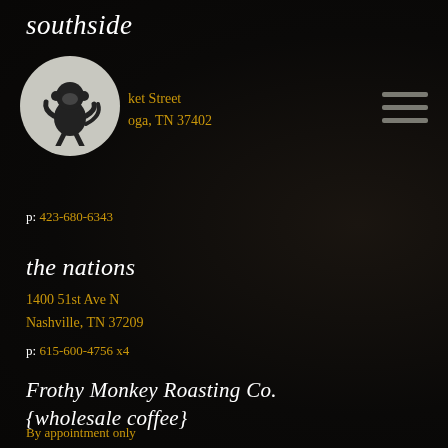southside
Market Street
Chattanooga, TN 37402
[Figure (logo): Frothy Monkey logo — white monkey silhouette on gray circle background]
p: 423-680-6343
the nations
1400 51st Ave N
Nashville, TN 37209
p: 615-600-4756 x4
Frothy Monkey Roasting Co.
{wholesale coffee}
By appointment only
p: 615-600-4756 x12
east nashville
1701 fatherland st
nashville, tn 37206